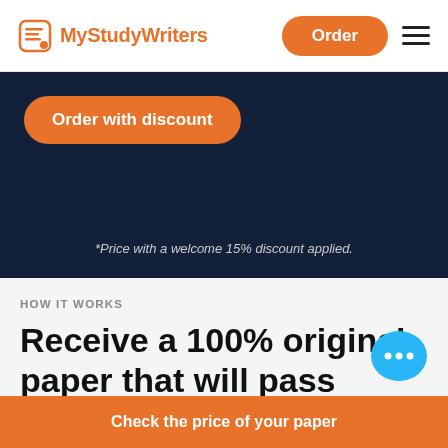MyStudyWriters | Order | Menu
[Figure (screenshot): Orange rounded button labeled 'Order with discount' on dark navy background]
*Price with a welcome 15% discount applied.
HOW IT WORKS
Receive a 100% original paper that will pass Turnitin from a top essay writing service
Check the price of your paper